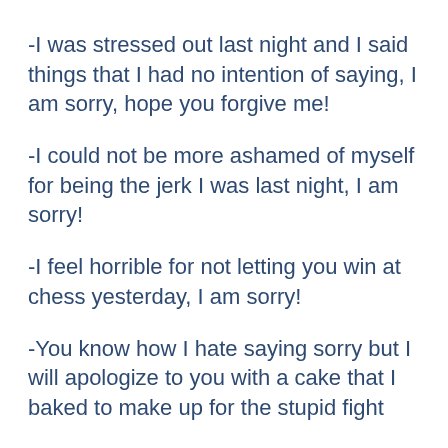-I was stressed out last night and I said things that I had no intention of saying, I am sorry, hope you forgive me!
-I could not be more ashamed of myself for being the jerk I was last night, I am sorry!
-I feel horrible for not letting you win at chess yesterday, I am sorry!
-You know how I hate saying sorry but I will apologize to you with a cake that I baked to make up for the stupid fight